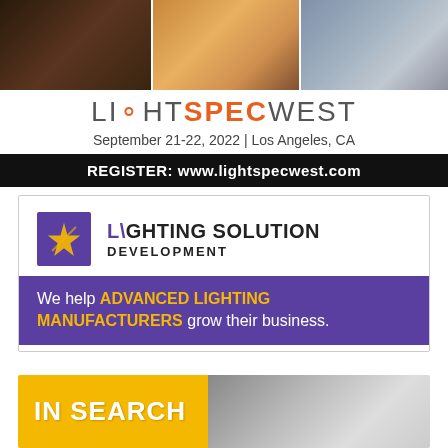[Figure (illustration): LightSpecWest advertisement with three architectural/interior photos at top, event title LIGHTSPECWEST, date September 21-22, 2022 | Los Angeles, CA, and black registration banner with www.lightspecwest.com]
[Figure (illustration): Lighting Solution Development advertisement with purple star logo, company name, and purple banner: We help ADVANCED LIGHTING MANUFACTURERS grow their business.]
[Figure (illustration): IN SEARCH advertisement with gold background on left and photo of hand on right, partially visible]